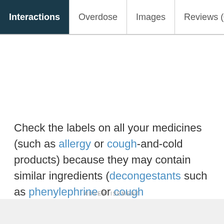Interactions | Overdose | Images | Reviews (0)
Check the labels on all your medicines (such as allergy or cough-and-cold products) because they may contain similar ingredients (decongestants such as phenylephrine or cough suppressants). Ask your pharmacist about using these products safely.
ADVERTISEMENT